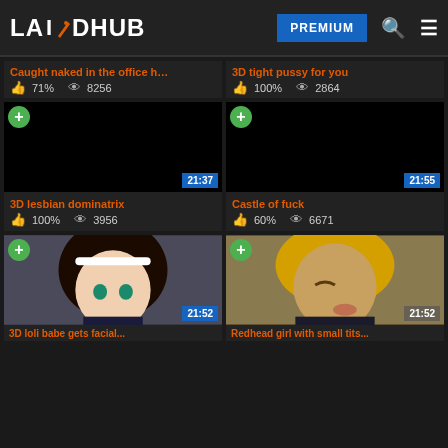LAIDHUB — PREMIUM
Caught naked in the office h… | 71% | 8256 views
3D tight pussy for you | 100% | 2864 views
[Figure (screenshot): Black video thumbnail with green plus button and duration 21:37, title: 3D lesbian dominatrix]
[Figure (screenshot): Black video thumbnail with green plus button and duration 21:55, title: Castle of fuck]
3D lesbian dominatrix | 100% | 3956 views
Castle of fuck | 60% | 6671 views
[Figure (screenshot): Anime girl with dark hair and white headband, duration 21:52, title: 3D loli babe gets facial...]
[Figure (screenshot): Blonde anime character close-up, duration 21:52, title: Redhead girl with small tits...]